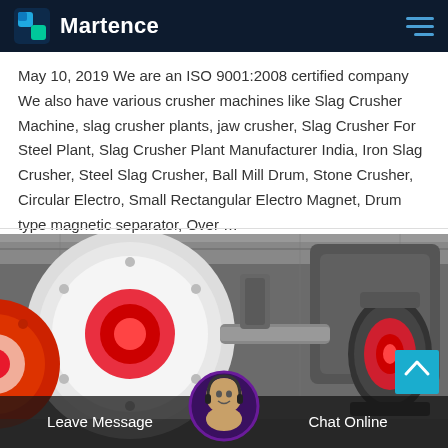Martence
May 10, 2019 We are an ISO 9001:2008 certified company We also have various crusher machines like Slag Crusher Machine, slag crusher plants, jaw crusher, Slag Crusher For Steel Plant, Slag Crusher Plant Manufacturer India, Iron Slag Crusher, Steel Slag Crusher, Ball Mill Drum, Stone Crusher, Circular Electro, Small Rectangular Electro Magnet, Drum type magnetic separator, Over …
[Figure (photo): Industrial machinery photo showing large cylindrical drum/ball mill equipment with red and white colored rotating parts and electric motors in a factory/workshop setting. At the bottom is a chat support overlay with a female customer service agent avatar, 'Leave Message' button on the left, and 'Chat Online' button on the right.]